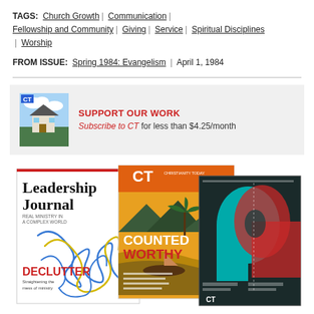TAGS: Church Growth | Communication | Fellowship and Community | Giving | Service | Spiritual Disciplines | Worship
FROM ISSUE: Spring 1984: Evangelism | April 1, 1984
[Figure (infographic): Promotional banner with CT magazine cover image on left and text 'SUPPORT OUR WORK / Subscribe to CT for less than $4.25/month' on right, on grey background]
[Figure (photo): Three overlapping magazine covers: Leadership Journal 'DECLUTTER' issue with tangled wire illustration, CT magazine 'COUNTED WORTHY' issue with tropical beach scene, and a dark CT magazine cover with a person's portrait in teal/red tones]